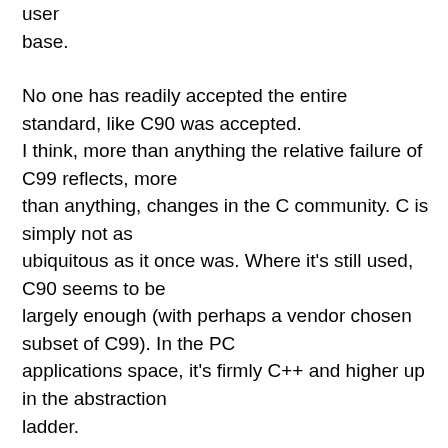user base.
No one has readily accepted the entire standard, like C90 was accepted. I think, more than anything the relative failure of C99 reflects, more than anything, changes in the C community. C is simply not as ubiquitous as it once was. Where it's still used, C90 seems to be largely enough (with perhaps a vendor chosen subset of C99). In the PC applications space, it's firmly C++ and higher up in the abstraction ladder.